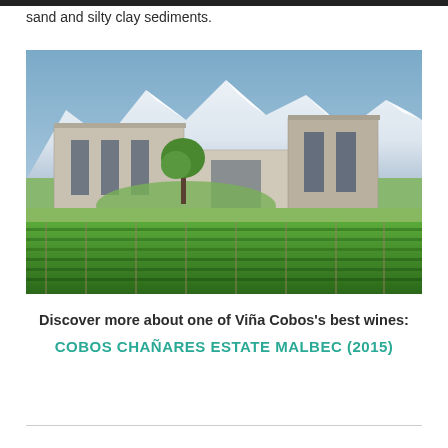sand and silty clay sediments.
[Figure (photo): Exterior photo of a modern concrete winery building (Viña Cobos) with snow-capped Andes mountains in the background, green vineyards and landscaping in the foreground.]
Discover more about one of Viña Cobos's best wines:
COBOS CHAÑARES ESTATE MALBEC (2015)